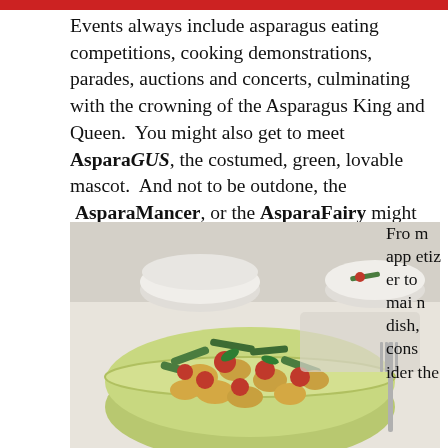[Figure (photo): Red decorative banner or header bar at the top of the page]
Events always include asparagus eating competitions, cooking demonstrations, parades, auctions and concerts, culminating with the crowning of the Asparagus King and Queen.  You might also get to meet AsparaGUS, the costumed, green, lovable mascot.  And not to be outdone, the  AsparaMancer, or the AsparaFairy might also be in attendance.
[Figure (photo): Photo of a green bowl filled with asparagus, tomatoes, and gnocchi salad, with white bowls and a fork visible in the background on a light surface]
From appetizer to main dish, consider the